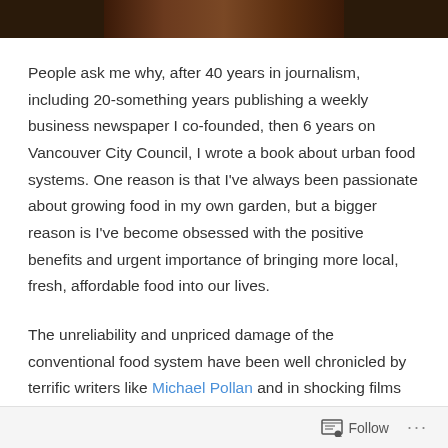[Figure (photo): Partial image strip at top of page, showing a dark brown/wood-toned background, cropped]
People ask me why, after 40 years in journalism, including 20-something years publishing a weekly business newspaper I co-founded, then 6 years on Vancouver City Council, I wrote a book about urban food systems. One reason is that I've always been passionate about growing food in my own garden, but a bigger reason is I've become obsessed with the positive benefits and urgent importance of bringing more local, fresh, affordable food into our lives.
The unreliability and unpriced damage of the conventional food system have been well chronicled by terrific writers like Michael Pollan and in shocking films like Food Inc.: our mostly imported food supply is in peril from rising oil prices, shrinking water supplies, corporate concentration,
Follow ...